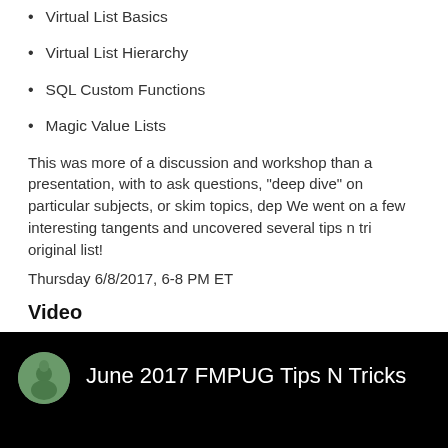Virtual List Basics
Virtual List Hierarchy
SQL Custom Functions
Magic Value Lists
This was more of a discussion and workshop than a presentation, with to ask questions, "deep dive" on particular subjects, or skim topics, dep We went on a few interesting tangents and uncovered several tips n tri original list!
Thursday 6/8/2017, 6-8 PM ET
Video
[Figure (screenshot): Video thumbnail with black background showing avatar icon and title 'June 2017 FMPUG Tips N Tricks']